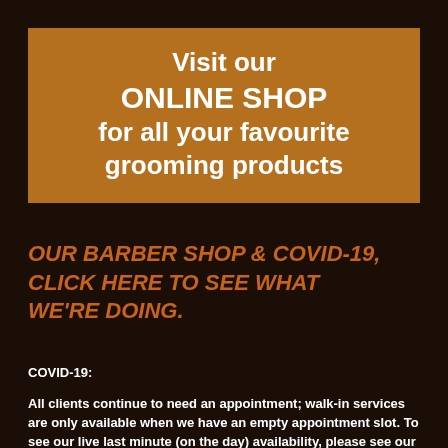[Figure (infographic): Brown/tan rectangular banner on dark brown background with white bold text: 'Visit our ONLINE SHOP for all your favourite grooming products']
OUR BARBER SHOP & COVID-19, CLICK HERE TO SEE WHAT WE'RE DOING.
COVID-19:
All clients continue to need an appointment; walk-in services are only available when we have an empty appointment slot. To see our live last minute (on the day) availability, please see our